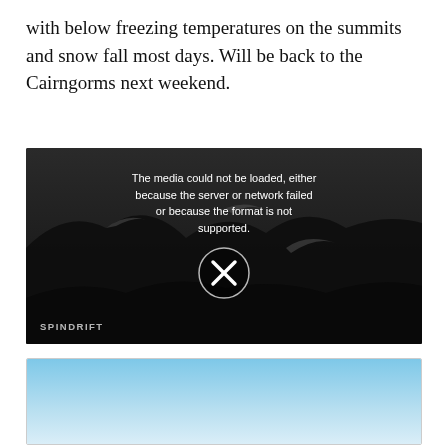with below freezing temperatures on the summits and snow fall most days. Will be back to the Cairngorms next weekend.
[Figure (screenshot): Video player showing error message 'The media could not be loaded, either because the server or network failed or because the format is not supported.' with an X button and a dark mountainous landscape background. Label 'SPINDRIFT' in bottom left.]
[Figure (photo): Partial photo showing a blue sky gradient, cropped at bottom of page.]